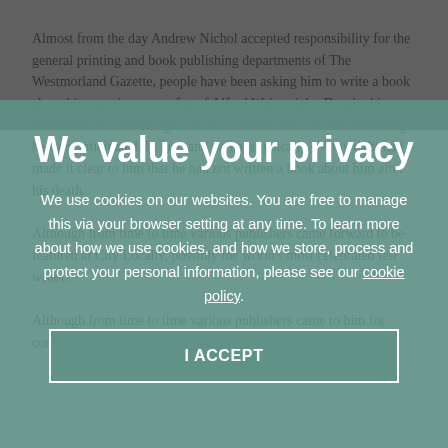Almost from the day Andrew Nichol accepted responsibility for the general printing and book publishing departments of The Westmorland Gazette, people have been asking him to write a book about his experience...
We value your privacy
We use cookies on our websites. You are free to manage this via your browser setting at any time. To learn more about how we use cookies, and how we store, process and protect your personal information, please see our cookie policy.
I ACCEPT